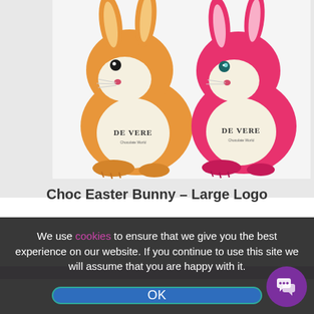[Figure (photo): Two chocolate Easter bunnies shaped like sitting rabbits — one orange/tan and one pink/hot-pink — each printed with the DE VERE logo on their chest area, photographed against a light grey background.]
Choc Easter Bunny – Large Logo
We use cookies to ensure that we give you the best experience on our website. If you continue to use this site we will assume that you are happy with it.
OK